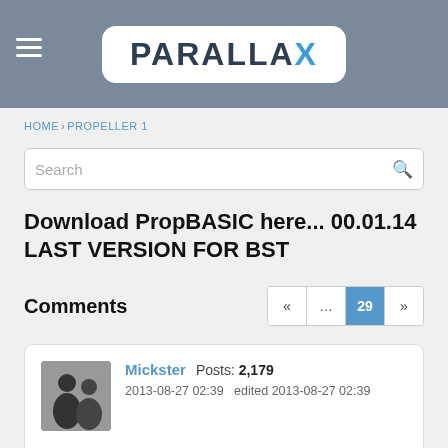[Figure (logo): Parallax logo on dark gray header bar with hamburger menu icon]
HOME › PROPELLER 1
Search
Download PropBASIC here... 00.01.14 LAST VERSION FOR BST
Comments
Mickster   Posts: 2,179
2013-08-27 02:39   edited 2013-08-27 02:39
To a large extent, the onus is on PropBasic fans/programmers to make this compiler more popular.